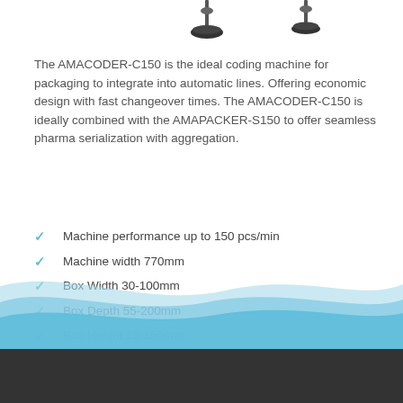[Figure (illustration): Top portion showing two machine components (AMACODER devices) partially visible at the top of the page on white background]
The AMACODER-C150 is the ideal coding machine for packaging to integrate into automatic lines. Offering economic design with fast changeover times. The AMACODER-C150 is ideally combined with the AMAPACKER-S150 to offer seamless pharma serialization with aggregation.
Machine performance up to 150 pcs/min
Machine width 770mm
Box Width 30-100mm
Box Depth 55-200mm
Box Height 15-150mm
[Figure (illustration): Decorative wave graphic with light blue layered waves at the bottom of the page, followed by a dark grey footer bar]